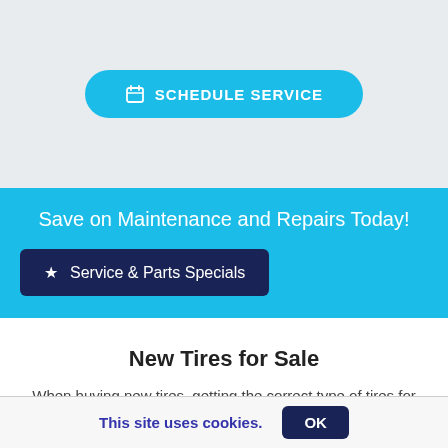[Figure (other): A teal/cyan rounded button with calendar icon labeled SCHEDULE SERVICE on a light gray background]
Save on Maintenance and Repairs Today!
★ Service & Parts Specials
New Tires for Sale
When buying new tires, getting the correct type of tires for your vehicle, driving conditions, and driving habits are
This site uses cookies. OK